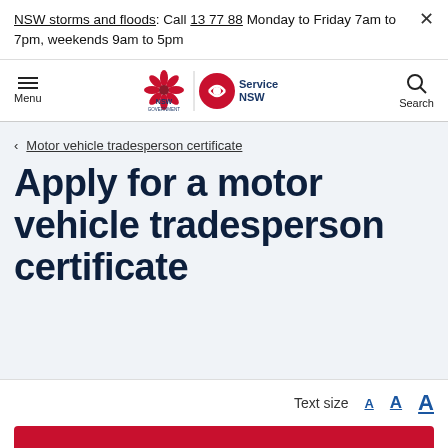NSW storms and floods: Call 13 77 88 Monday to Friday 7am to 7pm, weekends 9am to 5pm
[Figure (logo): NSW Government and Service NSW logos in navigation bar]
Motor vehicle tradesperson certificate
Apply for a motor vehicle tradesperson certificate
Text size A A A